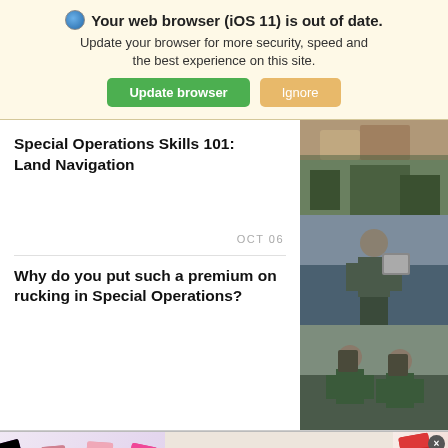Your web browser (iOS 11) is out of date. Update your browser for more security, speed and the best experience on this site. [Update browser] [Ignore]
Special Operations Skills 101: Land Navigation
OCT 06
[Figure (photo): Military soldier wading through water carrying equipment]
Why do you put such a premium on rucking in Special Operations?
[Figure (photo): Two soldiers rucking with heavy backpacks]
[Figure (advertisement): MAC cosmetics advertisement with lipsticks and SHOP NOW button]